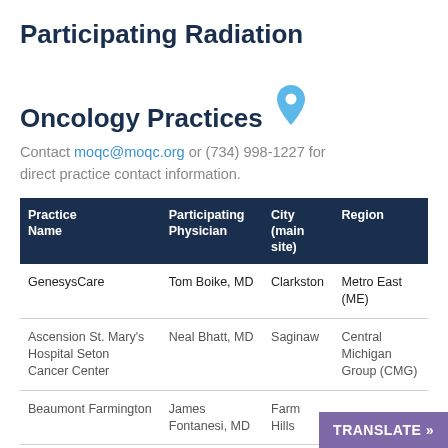Participating Radiation Oncology Practices
Contact moqc@moqc.org or (734) 998-1227 for direct practice contact information.
| Practice Name | Participating Physician | City (main site) | Region |
| --- | --- | --- | --- |
| GenesysCare | Tom Boike, MD | Clarkston | Metro East (ME) |
| Ascension St. Mary's Hospital Seton Cancer Center | Neal Bhatt, MD | Saginaw | Central Michigan Group (CMG) |
| Beaumont Farmington | James Fontanesi, MD | Farm Hills |  |